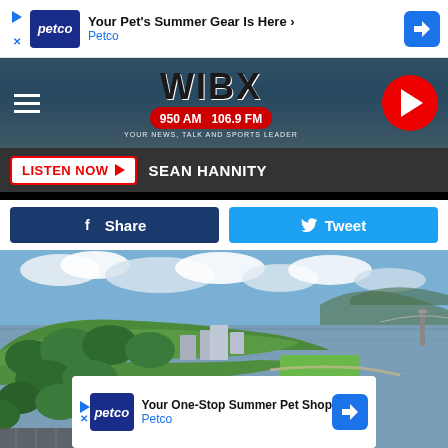[Figure (screenshot): Petco advertisement banner: 'Your Pet's Summer Gear Is Here' with Petco logo and navigation arrow]
[Figure (screenshot): WIBX 950 AM 106.9 FM radio station header with hamburger menu, logo, frequency badge, tagline, and red play button]
LISTEN NOW  SEAN HANNITY
[Figure (screenshot): Social sharing buttons: Facebook Share (dark blue) and Twitter Tweet (light blue)]
[Figure (photo): Aerial photograph of a city near a river with a bridge visible, green trees, waterfront park, and buildings under partly cloudy sky]
[Figure (screenshot): Petco advertisement banner: 'Your One-Stop Summer Pet Shop' with Petco logo and navigation arrow]